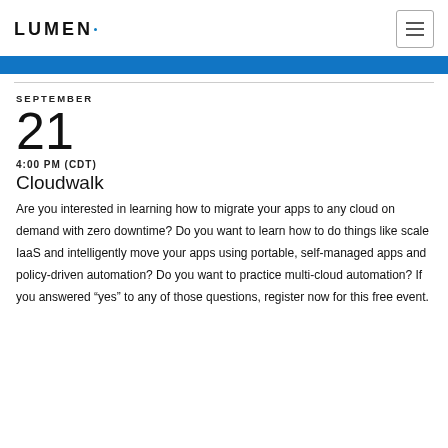LUMEN
SEPTEMBER
21
4:00 PM (CDT)
Cloudwalk
Are you interested in learning how to migrate your apps to any cloud on demand with zero downtime? Do you want to learn how to do things like scale IaaS and intelligently move your apps using portable, self-managed apps and policy-driven automation? Do you want to practice multi-cloud automation? If you answered “yes” to any of those questions, register now for this free event.